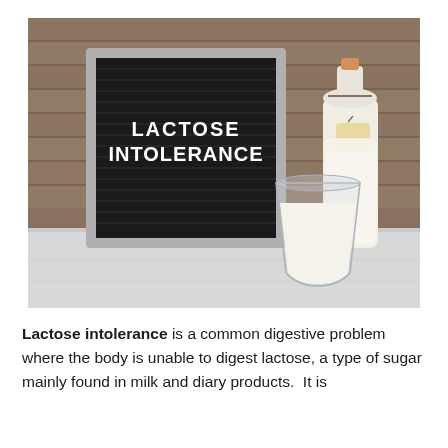[Figure (photo): Photo of a black letter board sign reading 'LACTOSE INTOLERANCE' in white capital letters, with a glass of milk and a glass milk bottle with cork cap and tag, set against a wooden plank wall background on a white wooden surface.]
Lactose intolerance is a common digestive problem where the body is unable to digest lactose, a type of sugar mainly found in milk and diary products.  It is